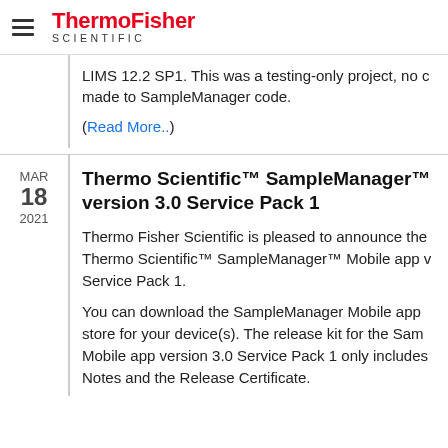ThermoFisher SCIENTIFIC
LIMS 12.2 SP1. This was a testing-only project, no changes made to SampleManager code.
(Read More..)
Thermo Scientific™ SampleManager™ version 3.0 Service Pack 1
Thermo Fisher Scientific is pleased to announce the Thermo Scientific™ SampleManager™ Mobile app version 3.0 Service Pack 1.
You can download the SampleManager Mobile app store for your device(s). The release kit for the SampleManager Mobile app version 3.0 Service Pack 1 only includes the Release Notes and the Release Certificate.